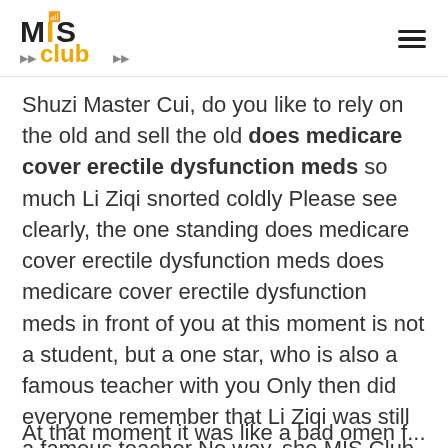MIS Club logo and hamburger menu
Shuzi Master Cui, do you like to rely on the old and sell the old does medicare cover erectile dysfunction meds so much Li Ziqi snorted coldly Please see clearly, the one standing does medicare cover erectile dysfunction meds does medicare cover erectile dysfunction meds in front of you at this moment is not a student, but a one star, who is also a famous teacher with you Only then did everyone remember that Li Ziqi was still a famous teacher No way, she MIS Club does medicare cover erectile dysfunction meds is too young to be associated with the title of Famed Teacher Cui Mingsheng is face was even more ugly Even if your teacher is standing in front of me, you would not dare to speak so madly.
At that moment it was like a bad omen f...